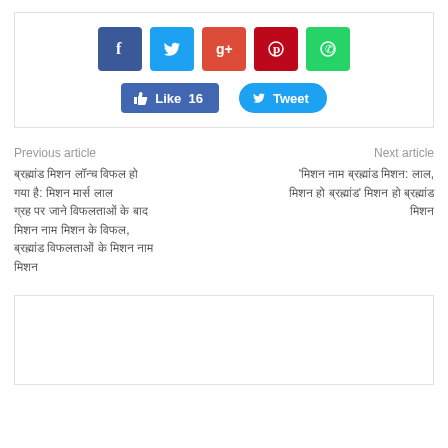[Figure (infographic): Social share bar with Facebook, Twitter, Google+, Pinterest, WhatsApp icon buttons, plus Like 16 and Tweet buttons]
Previous article
Hindi text link (previous article)
Next article
Hindi text link (next article)
[Figure (other): Empty white box at bottom of page]